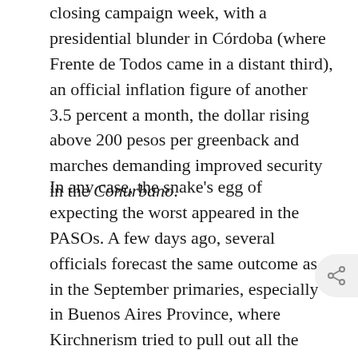closing campaign week, with a presidential blunder in Córdoba (where Frente de Todos came in a distant third), an official inflation figure of another 3.5 percent a month, the dollar rising above 200 pesos per greenback and marches demanding improved security in the Conurbano.
In any case, the snake's egg of expecting the worst appeared in the PASOs. A few days ago, several officials forecast the same outcome as in the September primaries, especially in Buenos Aires Province, where Kirchnerism tried to pull out all the stops. This is the context in which Peronist jubilation is to be understood: the achievement of cutting Juntos' lead in the country's most-populous